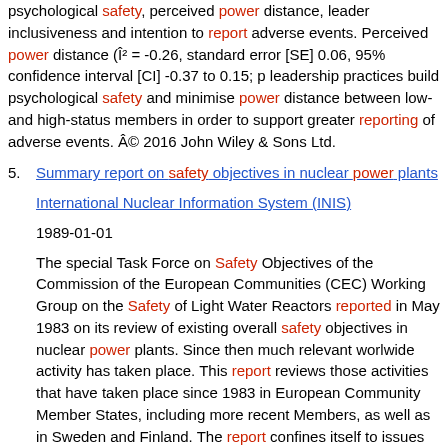psychological safety, perceived power distance, leader inclusiveness and intention to report adverse events. Perceived power distance (Î² = -0.26, standard error [SE] 0.06, 95% confidence interval [CI] -0.37 to 0.15; p leadership practices build psychological safety and minimise power distance between low- and high-status members in order to support greater reporting of adverse events. Â© 2016 John Wiley & Sons Ltd.
5. Summary report on safety objectives in nuclear power plants
International Nuclear Information System (INIS)
1989-01-01
The special Task Force on Safety Objectives of the Commission of the European Communities (CEC) Working Group on the Safety of Light Water Reactors reported in May 1983 on its review of existing overall safety objectives in nuclear power plants. Since then much relevant worlwide activity has taken place. This report reviews those activities that have taken place since 1983 in European Community Member States, including more recent Members, as well as in Sweden and Finland. The report confines itself to issues related to probabilistic safety